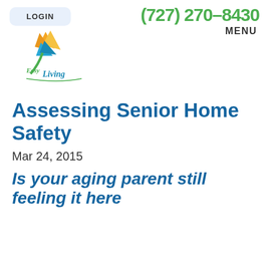[Figure (logo): EasyLiving logo with bird of paradise flower and stylized green/teal cursive text]
LOGIN
(727) 270-8430
MENU
Assessing Senior Home Safety
Mar 24, 2015
Is your aging parent still feeling it here